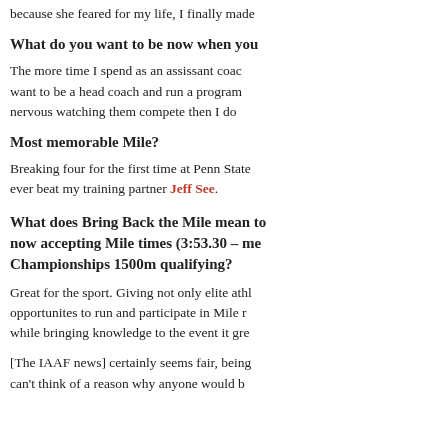because she feared for my life, I finally made
What do you want to be now when you
The more time I spend as an assissant coac want to be a head coach and run a program nervous watching them compete then I do
Most memorable Mile?
Breaking four for the first time at Penn State ever beat my training partner Jeff See.
What does Bring Back the Mile mean to now accepting Mile times (3:53.30 – me Championships 1500m qualifying?
Great for the sport. Giving not only elite ath opportunites to run and participate in Mile r while bringing knowledge to the event it gre
[The IAAF news] certainly seems fair, being can't think of a reason why anyone would b